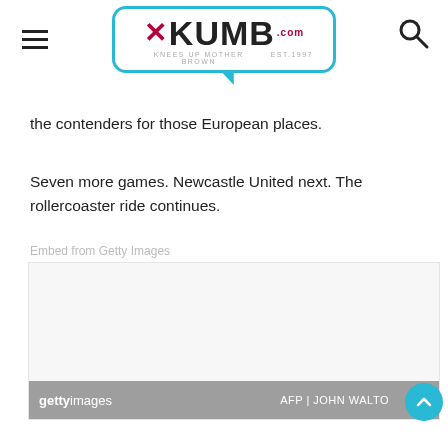XKUMB.com — KNEES UP MOTHER BROWN EST.1997
the contenders for those European places.
Seven more games. Newcastle United next. The rollercoaster ride continues.
Embed from Getty Images
[Figure (photo): Getty Images embedded photo placeholder with grey bar at bottom showing 'gettyimages' logo and 'AFP | JOHN WALTO' credit]